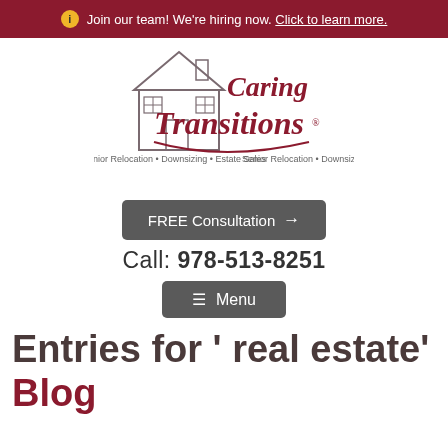Join our team! We're hiring now. Click to learn more.
[Figure (logo): Caring Transitions logo with house illustration and tagline: Senior Relocation • Downsizing • Estate Sales]
FREE Consultation →
Call: 978-513-8251
≡ Menu
Entries for ' real estate'
Blog